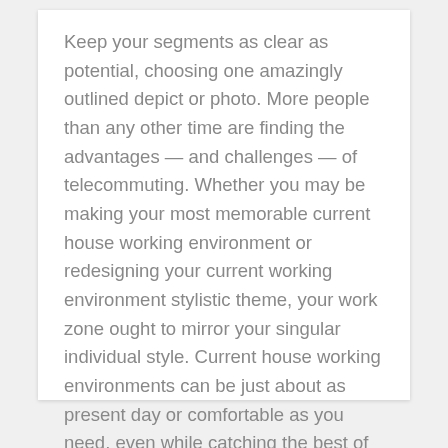Keep your segments as clear as potential, choosing one amazingly outlined depict or photo. More people than any other time are finding the advantages — and challenges — of telecommuting. Whether you may be making your most memorable current house working environment or redesigning your current working environment stylistic theme, your work zone ought to mirror your singular individual style. Current house working environments can be just about as present day or comfortable as you need, even while catching the best of most recent plan.